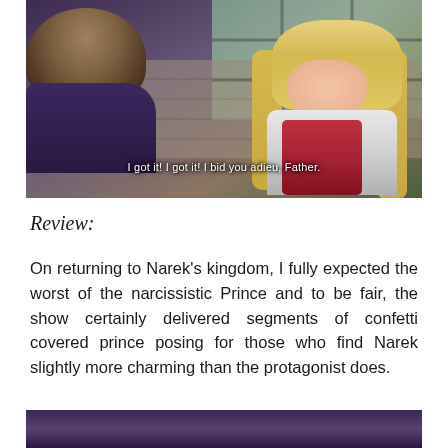[Figure (screenshot): Anime screenshot showing two characters: one viewed from behind with brown/dark hair wearing dark purple, and another facing forward with long blonde hair, feather accessories, red dress and white top. Subtitle reads: 'I got it! I got it! I bid you adieu, Father.']
Review:
On returning to Narek's kingdom, I fully expected the worst of the narcissistic Prince and to be fair, the show certainly delivered segments of confetti covered prince posing for those who find Narek slightly more charming than the protagonist does.
[Figure (screenshot): Bottom portion of another anime screenshot, showing dark purple/violet tones with characters partially visible.]